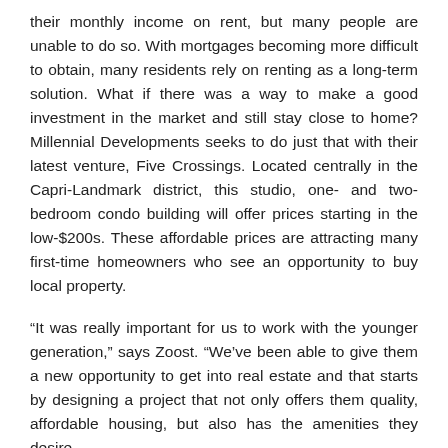their monthly income on rent, but many people are unable to do so. With mortgages becoming more difficult to obtain, many residents rely on renting as a long-term solution. What if there was a way to make a good investment in the market and still stay close to home? Millennial Developments seeks to do just that with their latest venture, Five Crossings. Located centrally in the Capri-Landmark district, this studio, one- and two-bedroom condo building will offer prices starting in the low-$200s. These affordable prices are attracting many first-time homeowners who see an opportunity to buy local property.
“It was really important for us to work with the younger generation,” says Zoost. “We’ve been able to give them a new opportunity to get into real estate and that starts by designing a project that not only offers them quality, affordable housing, but also has the amenities they desire.
Five Crossings offers a variety of communal space and